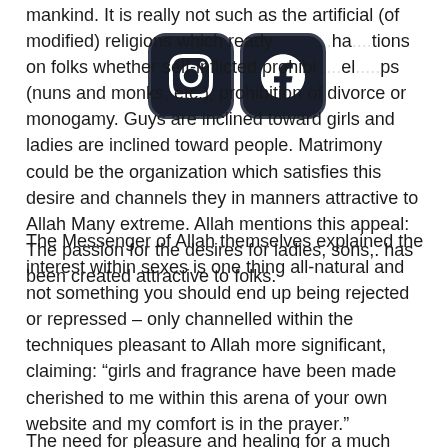mankind. It is really not such as the artificial (of modified) religions which ready... ha... tions on folks whether self-inflicted prohibi... el... ps (nuns and monks, etc.), prohibition of divorce or monogamy. Guys are inclined toward girls and ladies are inclined toward people. Matrimony could be the organization which satisfies this desire and channels they in manners attractive to Allah Many extreme. Allah mentions this appeal: The passion for the desires for ladies, sons,. has been created attractive to folks.
The Messenger of Allah themselves explained the interest within sexes is one thing all-natural and not something you should end up being rejected or repressed – only channelled within the techniques pleasant to Allah more significant, claiming: “girls and fragrance have been made cherished to me within this arena of your own website and my comfort is in the prayer.”
The need for pleasure and healing for a much different is totally...